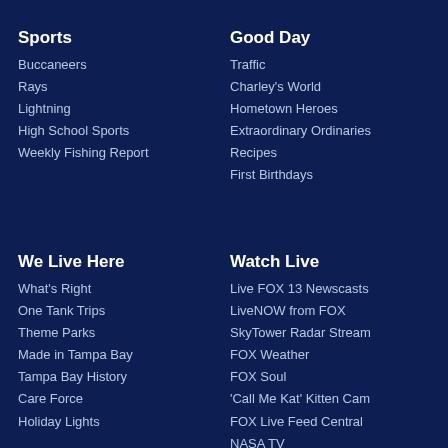Sports
Buccaneers
Rays
Lightning
High School Sports
Weekly Fishing Report
Good Day
Traffic
Charley's World
Hometown Heroes
Extraordinary Ordinaries
Recipes
First Birthdays
We Live Here
What's Right
One Tank Trips
Theme Parks
Made in Tampa Bay
Tampa Bay History
Care Force
Holiday Lights
Watch Live
Live FOX 13 Newscasts
LiveNOW from FOX
SkyTower Radar Stream
FOX Weather
FOX Soul
'Call Me Kat' Kitten Cam
FOX Live Feed Central
NASA TV